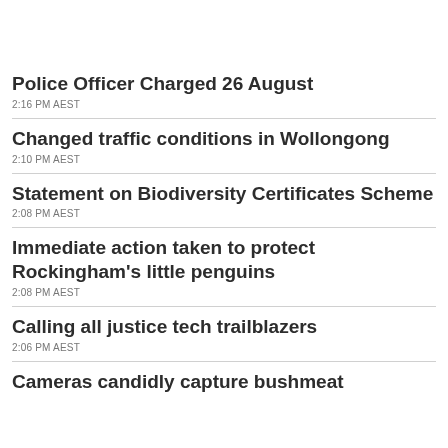Police Officer Charged 26 August
2:16 PM AEST
Changed traffic conditions in Wollongong
2:10 PM AEST
Statement on Biodiversity Certificates Scheme
2:08 PM AEST
Immediate action taken to protect Rockingham's little penguins
2:08 PM AEST
Calling all justice tech trailblazers
2:06 PM AEST
Cameras candidly capture bushmeat